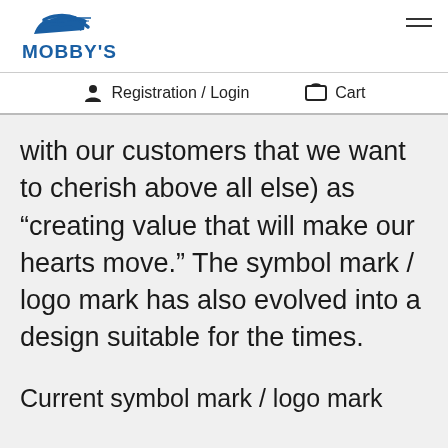MOBBY'S
Registration / Login  Cart
with our customers that we want to cherish above all else) as “creating value that will make our hearts move.” The symbol mark / logo mark has also evolved into a design suitable for the times.
Current symbol mark / logo mark